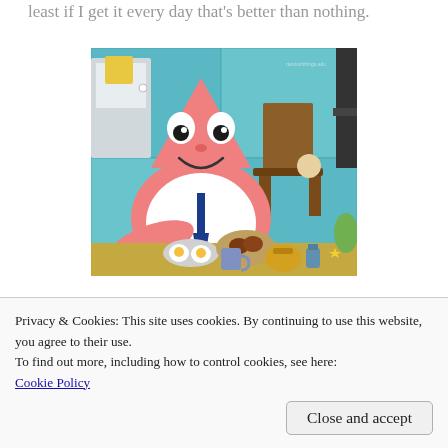least if I get it every day that's better than nothing.
[Figure (photo): Screenshot from SpongeBob SquarePants animated show showing Patrick Star sitting at a table with food including eggs, cookies, and drinks. Background shows interior of Krusty Krab with blue walls.]
[Figure (photo): Partially visible second image, cropped at bottom, showing a light beige background with some scattered items/images.]
Privacy & Cookies: This site uses cookies. By continuing to use this website, you agree to their use.
To find out more, including how to control cookies, see here:
Cookie Policy
Close and accept